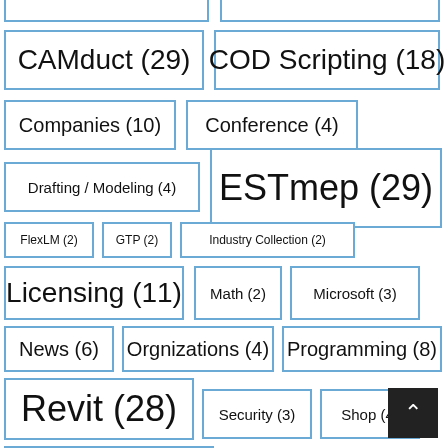CAMduct (29)
COD Scripting (18)
Companies (10)
Conference (4)
Drafting / Modeling (4)
ESTmep (29)
FlexLM (2)
GTP (2)
Industry Collection (2)
Licensing (11)
Math (2)
Microsoft (3)
News (6)
Orgnizations (4)
Programming (8)
Revit (28)
Security (3)
Shop (4)
Software (27)
Subscription (2)
TigerSto…